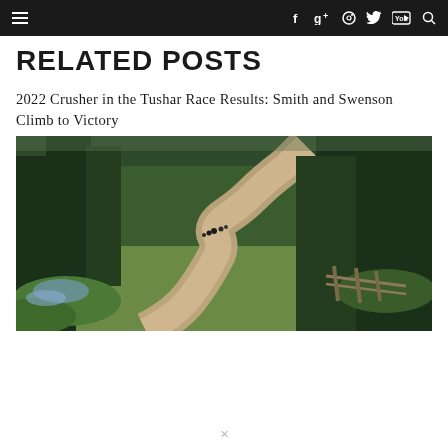Navigation bar with hamburger menu and social icons: Facebook, Google+, Instagram, Twitter, YouTube, Search
RELATED POSTS
2022 Crusher in the Tushar Race Results: Smith and Swenson Climb to Victory
[Figure (photo): Cyclists riding on a winding dirt mountain road through a dense pine forest with green undergrowth and wildflowers]
X